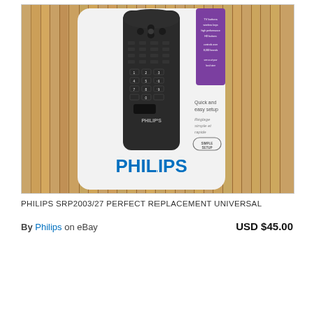[Figure (photo): A Philips SRP2003/27 universal TV remote control in its retail packaging, placed on a bamboo wood surface. The packaging is white/silver cardboard with the Philips logo in blue at the bottom and a purple label visible on the right side. Text on packaging reads 'Quick and easy setup', 'Réglage simple et rapide', and 'SIMPLE SETUP' badge.]
PHILIPS SRP2003/27 PERFECT REPLACEMENT UNIVERSAL
By Philips on eBay    USD $45.00